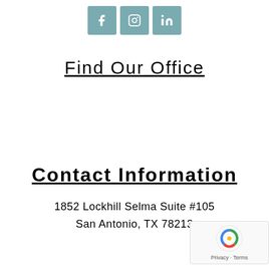[Figure (illustration): Three social media icons: Facebook (f), Instagram (circle with camera), LinkedIn (in), all with teal/muted green-blue square backgrounds]
Find Our Office
Contact Information
1852 Lockhill Selma Suite #105
San Antonio, TX 78213